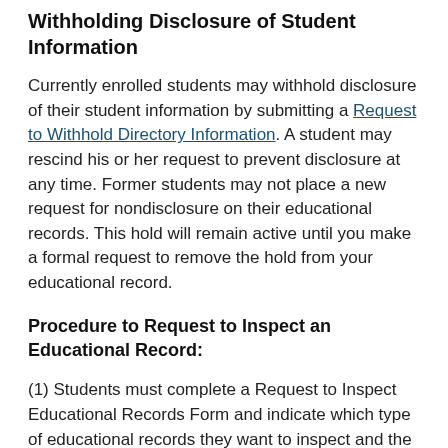Withholding Disclosure of Student Information
Currently enrolled students may withhold disclosure of their student information by submitting a Request to Withhold Directory Information. A student may rescind his or her request to prevent disclosure at any time. Former students may not place a new request for nondisclosure on their educational records. This hold will remain active until you make a formal request to remove the hold from your educational record.
Procedure to Request to Inspect an Educational Record:
(1) Students must complete a Request to Inspect Educational Records Form and indicate which type of educational records they want to inspect and the location of those records. A separate form must be completed for each location of records.
(2) Students must submit the Request to Inspect Educational